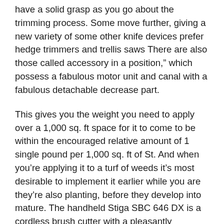have a solid grasp as you go about the trimming process. Some move further, giving a new variety of some other knife devices prefer hedge trimmers and trellis saws There are also those called accessory in a position," which possess a fabulous motor unit and canal with a fabulous detachable decrease part.
This gives you the weight you need to apply over a 1,000 sq. ft space for it to come to be within the encouraged relative amount of 1 single pound per 1,000 sq. ft of St. And when you’re applying it to a turf of weeds it’s most desirable to implement it earlier while you are they’re also planting, before they develop into mature. The handheld Stiga SBC 646 DX is a cordless brush cutter with a pleasantly rubberised handle for good grip and relatively low vibrations. Their weed eater trimmer includes an auto-return stop switch also. The 1.9 hourse power engine unit provides it lots of power – I can slice through a 4″ walnut